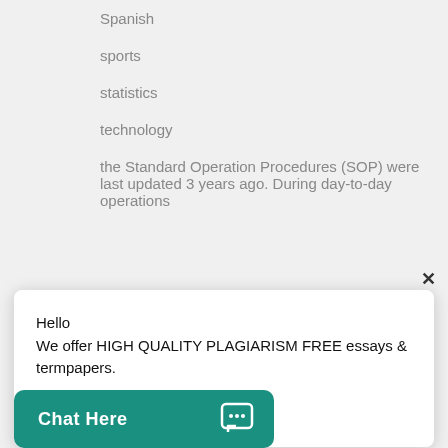Spanish
sports
statistics
technology
the Standard Operation Procedures (SOP) were last updated 3 years ago. During day-to-day operations
Hello
We offer HIGH QUALITY PLAGIARISM FREE essays & termpapers.

Chat...
Chat Here